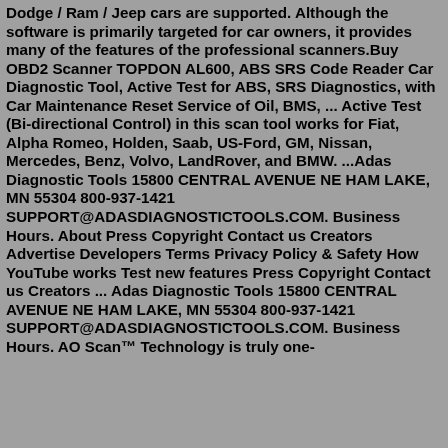Dodge / Ram / Jeep cars are supported. Although the software is primarily targeted for car owners, it provides many of the features of the professional scanners.Buy OBD2 Scanner TOPDON AL600, ABS SRS Code Reader Car Diagnostic Tool, Active Test for ABS, SRS Diagnostics, with Car Maintenance Reset Service of Oil, BMS, ... Active Test (Bi-directional Control) in this scan tool works for Fiat, Alpha Romeo, Holden, Saab, US-Ford, GM, Nissan, Mercedes, Benz, Volvo, LandRover, and BMW. ...Adas Diagnostic Tools 15800 CENTRAL AVENUE NE HAM LAKE, MN 55304 800-937-1421 SUPPORT@ADASDIAGNOSTICTOOLS.COM. Business Hours. About Press Copyright Contact us Creators Advertise Developers Terms Privacy Policy & Safety How YouTube works Test new features Press Copyright Contact us Creators ... Adas Diagnostic Tools 15800 CENTRAL AVENUE NE HAM LAKE, MN 55304 800-937-1421 SUPPORT@ADASDIAGNOSTICTOOLS.COM. Business Hours. AO Scan™ Technology is truly one-